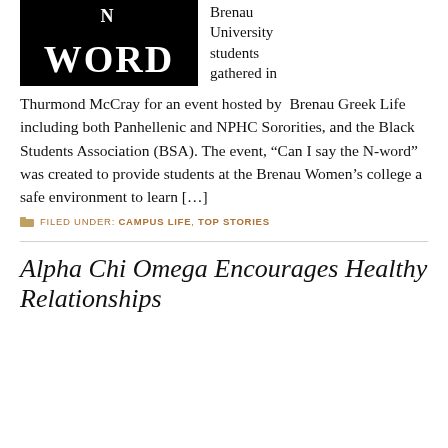[Figure (illustration): Black background image with large white serif text reading 'N WORD']
Brenau University students gathered in Thurmond McCray for an event hosted by Brenau Greek Life including both Panhellenic and NPHC Sororities, and the Black Students Association (BSA). The event, “Can I say the N-word” was created to provide students at the Brenau Women’s college a safe environment to learn […]
FILED UNDER: CAMPUS LIFE, TOP STORIES
Alpha Chi Omega Encourages Healthy Relationships